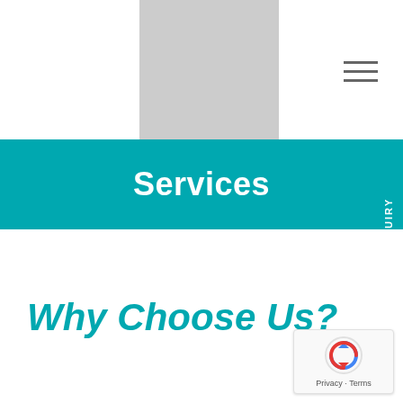[Figure (logo): Gray placeholder rectangle representing a logo image at the top center of the page]
[Figure (other): Hamburger menu icon (three horizontal lines) in the top right corner]
Services
Why Choose Us?
[Figure (other): Quick Inquiry vertical tab on the right side with teal background]
[Figure (other): reCAPTCHA badge in the bottom right corner with Privacy and Terms links]